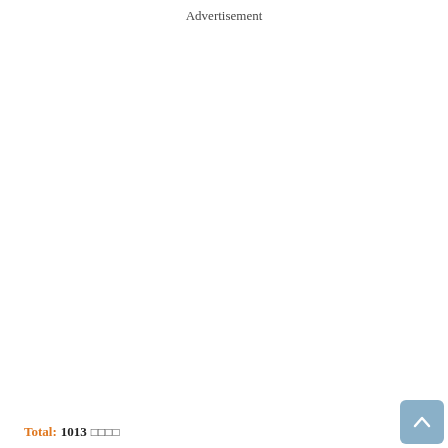Advertisement
Total:  1013 □□□□
[Figure (other): Scroll-to-top button with upward chevron arrow on blue-grey rounded square background]